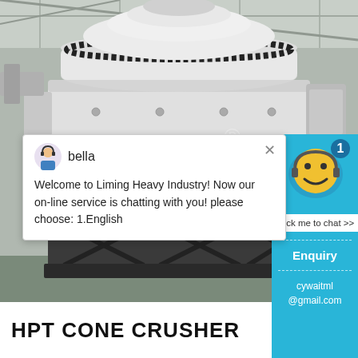[Figure (photo): Large industrial HPT cone crusher machine in a factory/warehouse setting. The machine is white and grey with a prominent red band around its middle section. It sits on a dark metal frame structure. Industrial ceiling visible above.]
[Figure (screenshot): Website chat popup from Liming Heavy Industry showing agent 'bella' with message: Welcome to Liming Heavy Industry! Now our on-line service is chatting with you! please choose: 1.English. Also shows a cyan sidebar with smiley face chat widget, badge number 1, 'Click me to chat >>' button, 'Enquiry' section, and email 'cywaitml@gmail.com'.]
HPT CONE CRUSHER